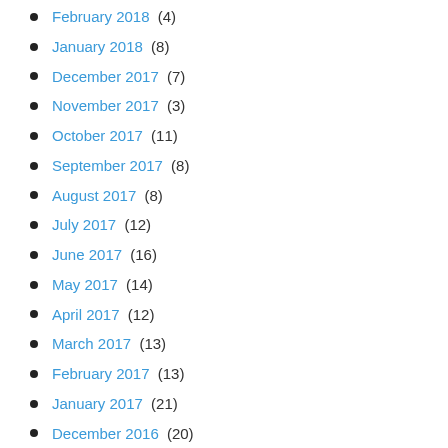February 2018 (4)
January 2018 (8)
December 2017 (7)
November 2017 (3)
October 2017 (11)
September 2017 (8)
August 2017 (8)
July 2017 (12)
June 2017 (16)
May 2017 (14)
April 2017 (12)
March 2017 (13)
February 2017 (13)
January 2017 (21)
December 2016 (20)
November 2016 (16)
October 2016 (15)